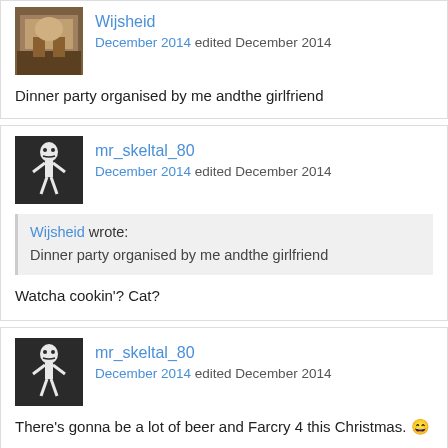Dinner party organised by me andthe girlfriend
mr_skeltal_80
December 2014 edited December 2014
Wijsheid wrote:
Dinner party organised by me andthe girlfriend
Watcha cookin'? Cat?
mr_skeltal_80
December 2014 edited December 2014
There's gonna be a lot of beer and Farcry 4 this Christmas. 😄

Me likey.